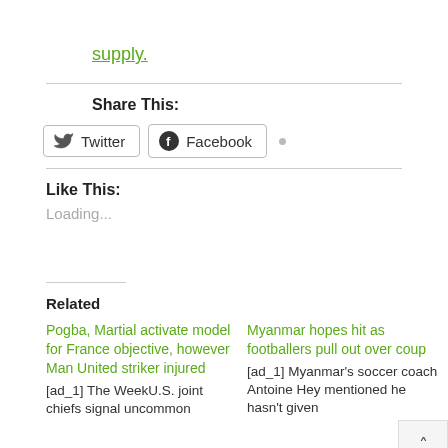supply
Share This:
[Figure (screenshot): Twitter and Facebook share buttons]
Like This:
Loading...
Related
Pogba, Martial activate model for France objective, however Man United striker injured
[ad_1] The WeekU.S. joint chiefs signal uncommon
Myanmar hopes hit as footballers pull out over coup
[ad_1] Myanmar's soccer coach Antoine Hey mentioned he hasn't given